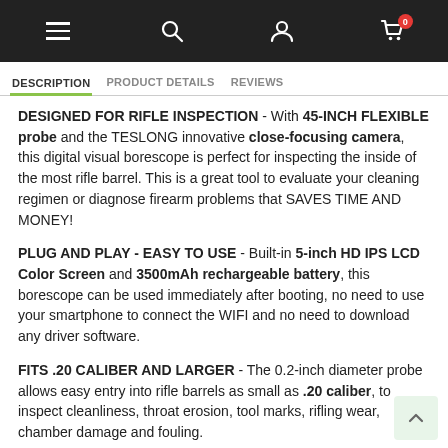Navigation bar with menu, search, user, and cart icons
DESCRIPTION   PRODUCT DETAILS   REVIEWS
DESIGNED FOR RIFLE INSPECTION - With 45-INCH FLEXIBLE probe and the TESLONG innovative close-focusing camera, this digital visual borescope is perfect for inspecting the inside of the most rifle barrel. This is a great tool to evaluate your cleaning regimen or diagnose firearm problems that SAVES TIME AND MONEY!
PLUG AND PLAY - EASY TO USE - Built-in 5-inch HD IPS LCD Color Screen and 3500mAh rechargeable battery, this borescope can be used immediately after booting, no need to use your smartphone to connect the WIFI and no need to download any driver software.
FITS .20 CALIBER AND LARGER - The 0.2-inch diameter probe allows easy entry into rifle barrels as small as .20 caliber, to inspect cleanliness, throat erosion, tool marks, rifling wear, chamber damage and fouling.
LED RING LIGHT & SIDE-VIEW MIRROR - Six LED lights are adjustable for brightness and give the camera a perfect view of the darkest inspection areas. With the